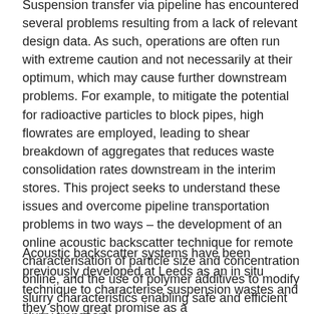Suspension transfer via pipeline has encountered several problems resulting from a lack of relevant design data. As such, operations are often run with extreme caution and not necessarily at their optimum, which may cause further downstream problems. For example, to mitigate the potential for radioactive particles to block pipes, high flowrates are employed, leading to shear breakdown of aggregates that reduces waste consolidation rates downstream in the interim stores. This project seeks to understand these issues and overcome pipeline transportation problems in two ways – the development of an online acoustic backscatter technique for remote characterisation of particle size and concentration online, and the use of polymer additives to modify slurry characteristics enabling safe and efficient slurry transport.
Acoustic backscatter systems have been previously developed at Leeds as an in situ technique to characterise suspension wastes and they show great promise as a